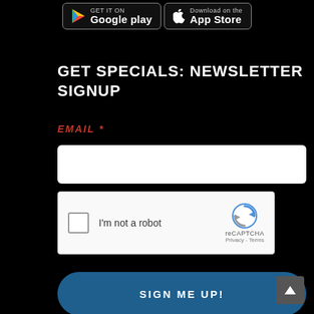[Figure (screenshot): Google Play and App Store download badge buttons at the top of the page]
GET SPECIALS: NEWSLETTER SIGNUP
EMAIL *
[Figure (screenshot): Email input text field (white rectangle)]
[Figure (screenshot): reCAPTCHA widget with checkbox 'I'm not a robot' and reCAPTCHA logo with Privacy and Terms links]
SIGN ME UP!
[Figure (screenshot): Back to top arrow button in bottom right corner]